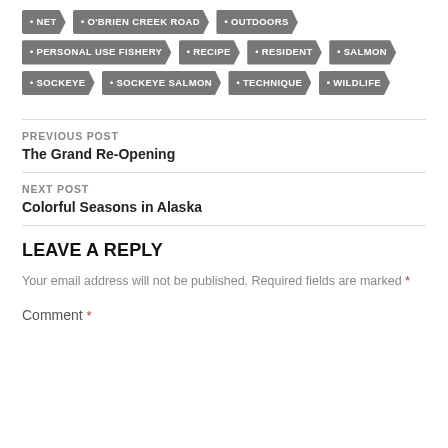NET
O'BRIEN CREEK ROAD
OUTDOORS
PERSONAL USE FISHERY
RECIPE
RESIDENT
SALMON
SOCKEYE
SOCKEYE SALMON
TECHNIQUE
WILDLIFE
PREVIOUS POST
The Grand Re-Opening
NEXT POST
Colorful Seasons in Alaska
LEAVE A REPLY
Your email address will not be published. Required fields are marked *
Comment *